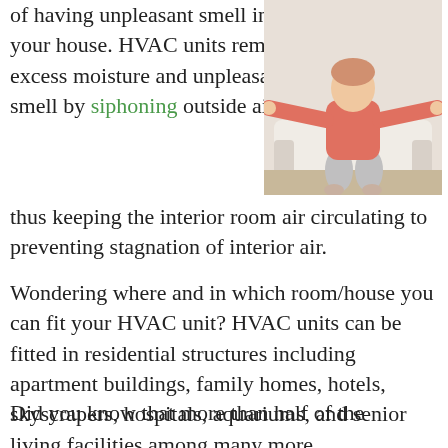of having unpleasant smell in your house. HVAC units remove excess moisture and unpleasant smell by siphoning outside air thus keeping the interior room air circulating to preventing stagnation of interior air.
[Figure (photo): A woman sitting on a couch with arms outstretched to the sides, wearing a pink top and grey pants, with a white sofa behind her.]
Wondering where and in which room/house you can fit your HVAC unit? HVAC units can be fitted in residential structures including apartment buildings, family homes, hotels, skyscrapers, hospitals, aquariums, and senior living facilities among many more.
Did you know that more than half of the